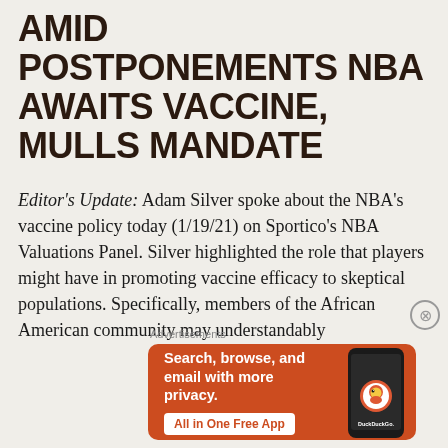AMID POSTPONEMENTS NBA AWAITS VACCINE, MULLS MANDATE
Editor's Update: Adam Silver spoke about the NBA's vaccine policy today (1/19/21) on Sportico's NBA Valuations Panel. Silver highlighted the role that players might have in promoting vaccine efficacy to skeptical populations. Specifically, members of the African American community may understandably
[Figure (infographic): DuckDuckGo advertisement banner with orange background showing phone and text: Search, browse, and email with more privacy. All in One Free App. DuckDuckGo.]